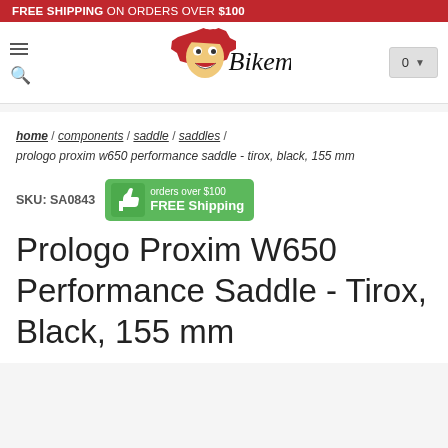FREE SHIPPING ON ORDERS OVER $100
[Figure (logo): Bikeman logo with cartoon face and gear]
home / components / saddle / saddles / prologo proxim w650 performance saddle - tirox, black, 155 mm
SKU: SA0843
[Figure (infographic): Green free shipping badge with thumbs up icon and text: orders over $100 FREE Shipping]
Prologo Proxim W650 Performance Saddle - Tirox, Black, 155 mm